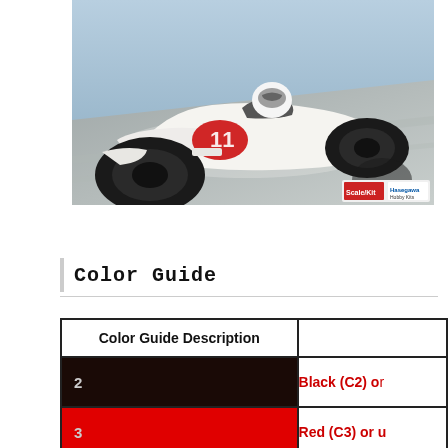[Figure (illustration): Painting of a Formula 1 racing car (white Honda F1 with red Japanese flag motif, number 11) on a race track, with driver visible. Hasegawa/Hobby Kits branding in lower right corner.]
Color Guide
| Color Guide Description |  |
| --- | --- |
| 2 [black swatch] | Black (C2) o... |
| 3 [red swatch] | Red (C3) or u... |